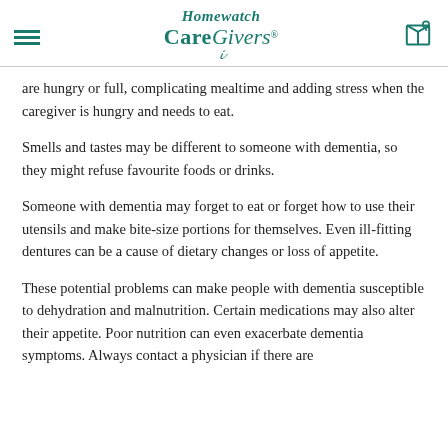Homewatch CareGivers®
are hungry or full, complicating mealtime and adding stress when the caregiver is hungry and needs to eat.
Smells and tastes may be different to someone with dementia, so they might refuse favourite foods or drinks.
Someone with dementia may forget to eat or forget how to use their utensils and make bite-size portions for themselves. Even ill-fitting dentures can be a cause of dietary changes or loss of appetite.
These potential problems can make people with dementia susceptible to dehydration and malnutrition. Certain medications may also alter their appetite. Poor nutrition can even exacerbate dementia symptoms. Always contact a physician if there are